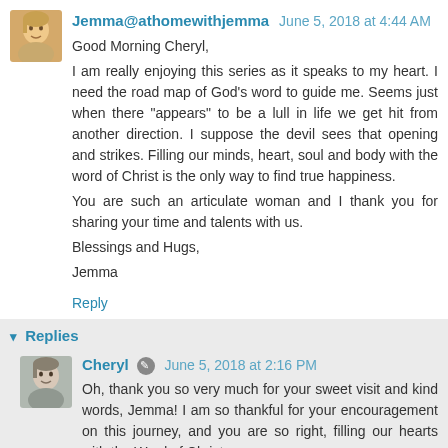Jemma@athomewithjemma June 5, 2018 at 4:44 AM
Good Morning Cheryl,
I am really enjoying this series as it speaks to my heart. I need the road map of God's word to guide me. Seems just when there "appears" to be a lull in life we get hit from another direction. I suppose the devil sees that opening and strikes. Filling our minds, heart, soul and body with the word of Christ is the only way to find true happiness.
You are such an articulate woman and I thank you for sharing your time and talents with us.
Blessings and Hugs,
Jemma
Reply
Replies
Cheryl June 5, 2018 at 2:16 PM
Oh, thank you so very much for your sweet visit and kind words, Jemma! I am so thankful for your encouragement on this journey, and you are so right, filling our hearts with the Word of Christ...